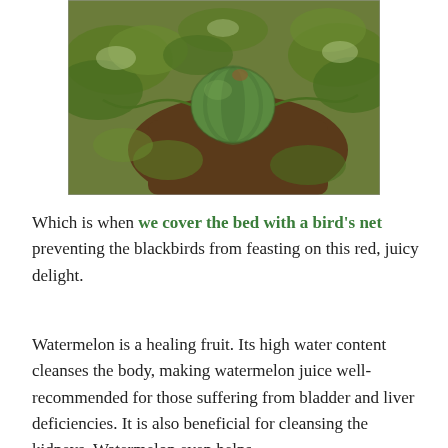[Figure (photo): A watermelon growing on the ground among green leafy vines and soil in a garden bed, viewed from above.]
Which is when we cover the bed with a bird's net preventing the blackbirds from feasting on this red, juicy delight.
Watermelon is a healing fruit. Its high water content cleanses the body, making watermelon juice well-recommended for those suffering from bladder and liver deficiencies. It is also beneficial for cleansing the kidneys. Watermelon even helps